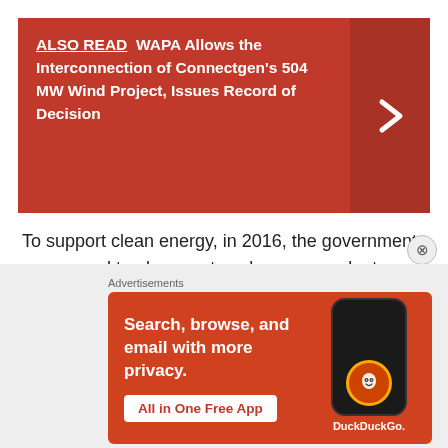ALSO READ  WAPA Allows the Interconnection of Connectgen's 504 MW Wind Project, Issues Record of Decision
To support clean energy, in 2016, the government announced to phase out nuclear power plants completely before 2025 and reach its target of 20% renewable energy supply by 2025. The move also helps to attain environmental sustainability and reduce the nation's carbon footprint. With coal forming almost 48% of the generation mix, the nation was ranked third to last
Advertisements
[Figure (other): DuckDuckGo advertisement banner with orange background showing 'Search, browse, and email with more privacy. All in One Free App' text and a phone graphic with DuckDuckGo logo]